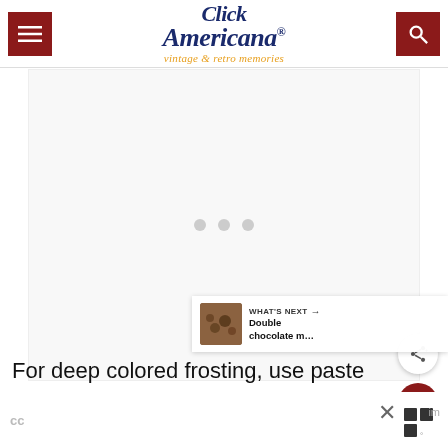Click Americana® — vintage & retro memories
[Figure (other): Advertisement placeholder area with three gray loading dots in the center]
[Figure (other): Floating heart (like/save) button, dark red circular button with white heart icon]
[Figure (other): Floating share button, white circular button with share icon]
[Figure (other): What's Next bar showing thumbnail of chocolate cookie/brownie and text: WHAT'S NEXT → Double chocolate m...]
For deep colored frosting, use paste
cc  im×  ⬛⬛⬛°